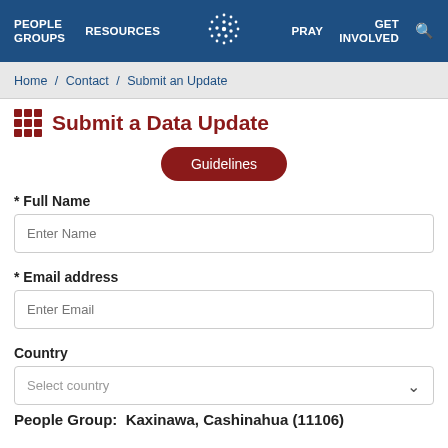PEOPLE GROUPS   RESOURCES   [logo]   PRAY   GET INVOLVED   [search]
Home / Contact / Submit an Update
Submit a Data Update
Guidelines
* Full Name
Enter Name
* Email address
Enter Email
Country
Select country
People Group:  Kaxinawa, Cashinahua (11106)